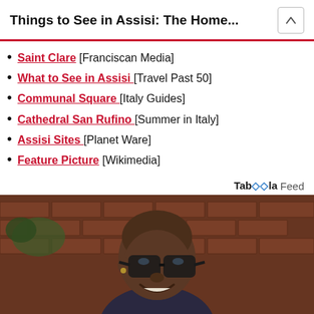Things to See in Assisi: The Home...
Saint Clare [Franciscan Media]
What to See in Assisi [Travel Past 50]
Communal Square [Italy Guides]
Cathedral San Rufino [Summer in Italy]
Assisi Sites [Planet Ware]
Feature Picture [Wikimedia]
Taboola Feed
[Figure (photo): A man with glasses and a shaved head, wearing a dark patterned shirt, smiling, photographed against a brick wall background.]